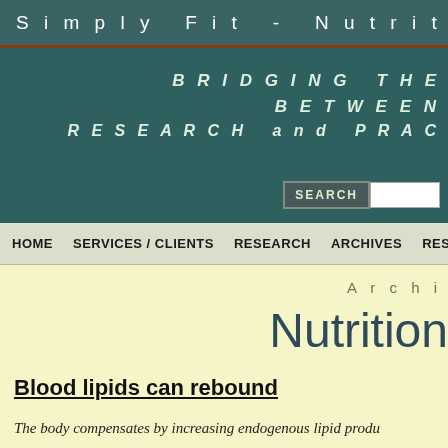Simply Fit - Nutrition and B
BRIDGING THE BETWEEN RESEARCH and PRAC
HOME   SERVICES / CLIENTS   RESEARCH   ARCHIVES   RESOU
Archi
Nutrition
Blood lipids can rebound
The body compensates by increasing endogenous lipid produ